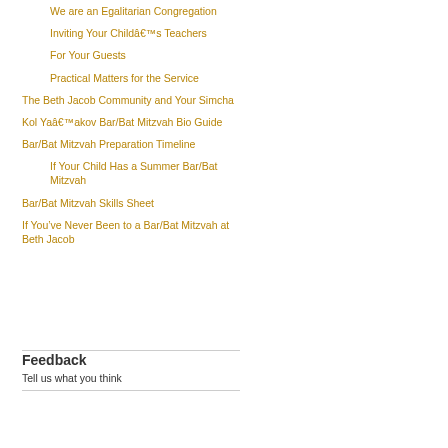We are an Egalitarian Congregation
Inviting Your Child’s Teachers
For Your Guests
Practical Matters for the Service
The Beth Jacob Community and Your Simcha
Kol Ya’akov Bar/Bat Mitzvah Bio Guide
Bar/Bat Mitzvah Preparation Timeline
If Your Child Has a Summer Bar/Bat Mitzvah
Bar/Bat Mitzvah Skills Sheet
If You’ve Never Been to a Bar/Bat Mitzvah at Beth Jacob
Feedback
Tell us what you think